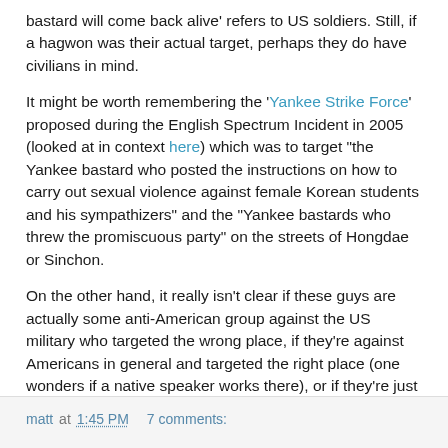bastard will come back alive' refers to US soldiers. Still, if a hagwon was their actual target, perhaps they do have civilians in mind.
It might be worth remembering the 'Yankee Strike Force' proposed during the English Spectrum Incident in 2005 (looked at in context here) which was to target "the Yankee bastard who posted the instructions on how to carry out sexual violence against female Korean students and his sympathizers" and the "Yankee bastards who threw the promiscuous party" on the streets of Hongdae or Sinchon.
On the other hand, it really isn't clear if these guys are actually some anti-American group against the US military who targeted the wrong place, if they're against Americans in general and targeted the right place (one wonders if a native speaker works there), or if they're just using this rhetoric to cloak other intentions against that hagwon. Time will tell.
matt at 1:45 PM    7 comments: